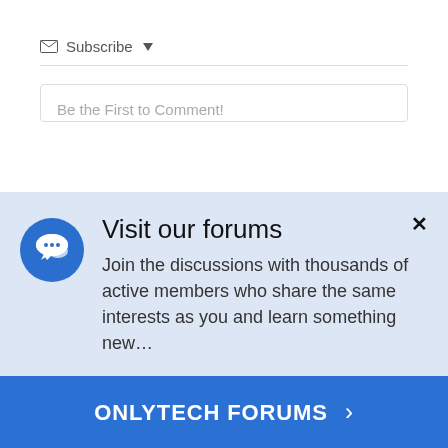✉ Subscribe ▾
Be the First to Comment!
[Figure (screenshot): Forum promotion overlay with blue chat bubble icon, title 'Visit our forums', description text, close X button, and blue CTA button 'ONLYTECH FORUMS ›']
Visit our forums
Join the discussions with thousands of active members who share the same interests as you and learn something new…
ONLYTECH FORUMS ›